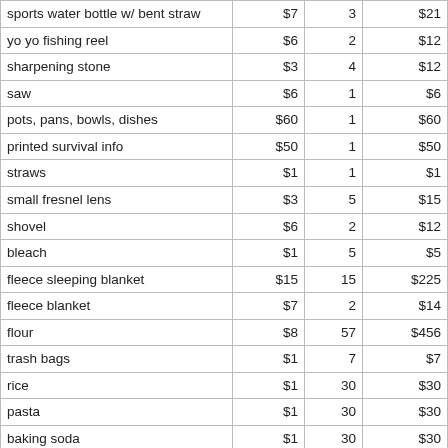| sports water bottle w/ bent straw | $7 | 3 | $21 |
| yo yo fishing reel | $6 | 2 | $12 |
| sharpening stone | $3 | 4 | $12 |
| saw | $6 | 1 | $6 |
| pots, pans, bowls, dishes | $60 | 1 | $60 |
| printed survival info | $50 | 1 | $50 |
| straws | $1 | 1 | $1 |
| small fresnel lens | $3 | 5 | $15 |
| shovel | $6 | 2 | $12 |
| bleach | $1 | 5 | $5 |
| fleece sleeping blanket | $15 | 15 | $225 |
| fleece blanket | $7 | 2 | $14 |
| flour | $8 | 57 | $456 |
| trash bags | $1 | 7 | $7 |
| rice | $1 | 30 | $30 |
| pasta | $1 | 30 | $30 |
| baking soda | $1 | 30 | $30 |
| soap | $1 | 50 | $50 |
| buckets | $11 | 3 | $33 |
| swiss army knife | $1 | 7 | $7 |
| grill toppers | $1 | 8 | $8 |